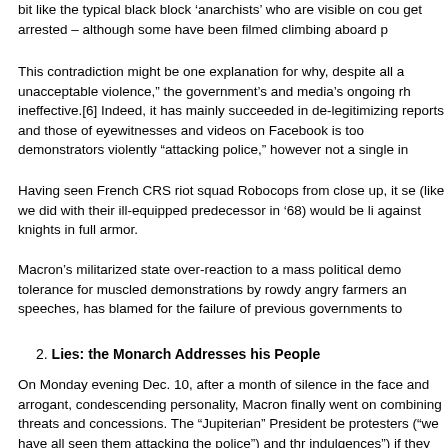bit like the typical black block 'anarchists' who are visible on cou get arrested – although some have been filmed climbing aboard p
This contradiction might be one explanation for why, despite all a unacceptable violence," the government's and media's ongoing rh ineffective.[6] Indeed, it has mainly succeeded in de-legitimizing reports and those of eyewitnesses and videos on Facebook is too demonstrators violently "attacking police," however not a single in
Having seen French CRS riot squad Robocops from close up, it se (like we did with their ill-equipped predecessor in '68) would be li against knights in full armor.
Macron's militarized state over-reaction to a mass political demo tolerance for muscled demonstrations by rowdy angry farmers an speeches, has blamed for the failure of previous governments to
2. Lies: the Monarch Addresses his People
On Monday evening Dec. 10, after a month of silence in the face and arrogant, condescending personality, Macron finally went on combining threats and concessions. The "Jupiterian" President be protesters ("we have all seen them attacking the police") and thr indulgences") if they persist. For the Yellow Vests this was throwi